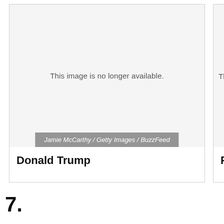[Figure (photo): Image placeholder card for Donald Trump showing 'This image is no longer available.' with credit 'Jamie McCarthy / Getty Images / BuzzFeed']
Donald Trump
[Figure (photo): Partially visible image placeholder card for Francisco (name cut off) showing 'This ima...' (image no longer available)]
7.